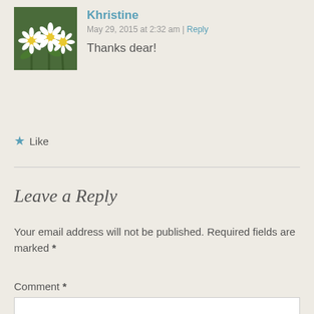[Figure (photo): Avatar photo of daisy flowers (white petals, yellow centers on green background)]
Khristine
May 29, 2015 at 2:32 am | Reply
Thanks dear!
★ Like
Leave a Reply
Your email address will not be published. Required fields are marked *
Comment *